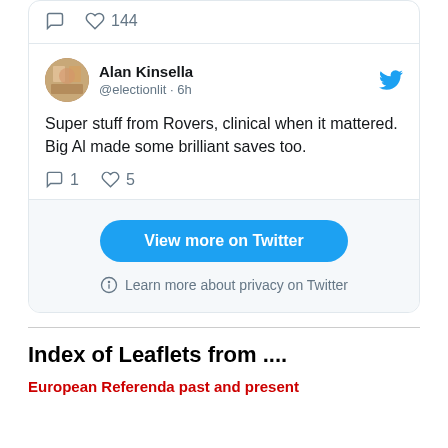[Figure (screenshot): Top portion of a tweet card showing comment and heart icons with count 144]
[Figure (screenshot): Tweet by Alan Kinsella (@electionlit) posted 6h ago with text: Super stuff from Rovers, clinical when it mattered. Big Al made some brilliant saves too. With reply count 1 and like count 5. View more on Twitter button and Learn more about privacy on Twitter link.]
Index of Leaflets from ....
European Referenda past and present